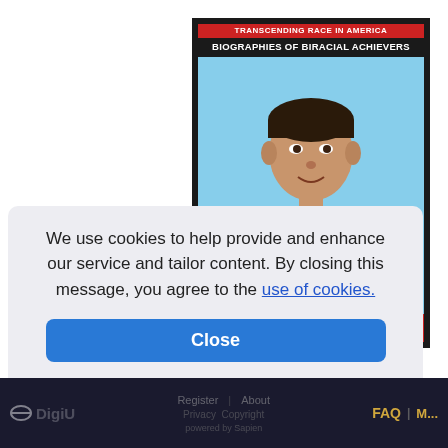[Figure (illustration): Book cover for 'Transcending Race in America: Biographies of Biracial Achievers' featuring David Blaine. Red banner at top reads 'Transcending Race in America', subtitle 'Biographies of Biracial Achievers', photo of David Blaine against light blue background, red name bar at bottom reading 'DAVID BLAINE'. Dark/black border frame around cover.]
Page 3 of 15
1 2 3 4 5 6 7
We use cookies to help provide and enhance our service and tailor content. By closing this message, you agree to the use of cookies.
Close
DigiU | Register | About | FAQ | My ... Privacy Copyright powered by Sapien